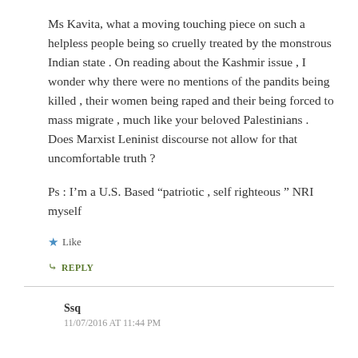Ms Kavita, what a moving touching piece on such a helpless people being so cruelly treated by the monstrous Indian state . On reading about the Kashmir issue , I wonder why there were no mentions of the pandits being killed , their women being raped and their being forced to mass migrate , much like your beloved Palestinians . Does Marxist Leninist discourse not allow for that uncomfortable truth ?

Ps : I'm a U.S. Based “patriotic , self righteous ” NRI myself
★ Like
↳ REPLY
Ssq
11/07/2016 AT 11:44 PM